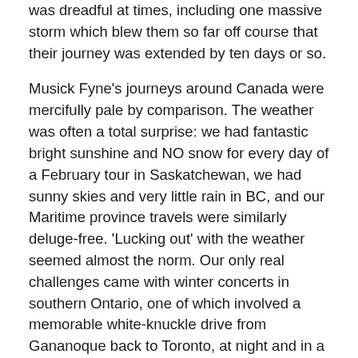was dreadful at times, including one massive storm which blew them so far off course that their journey was extended by ten days or so.
Musick Fyne's journeys around Canada were mercifully pale by comparison. The weather was often a total surprise: we had fantastic bright sunshine and NO snow for every day of a February tour in Saskatchewan, we had sunny skies and very little rain in BC, and our Maritime province travels were similarly deluge-free. 'Lucking out' with the weather seemed almost the norm. Our only real challenges came with winter concerts in southern Ontario, one of which involved a memorable white-knuckle drive from Gananoque back to Toronto, at night and in a blizzard. Visibility was maybe six feet. On the bright side (if you can call it that), the harpsichord in the back of the rental van provided us with some extra ballast. We